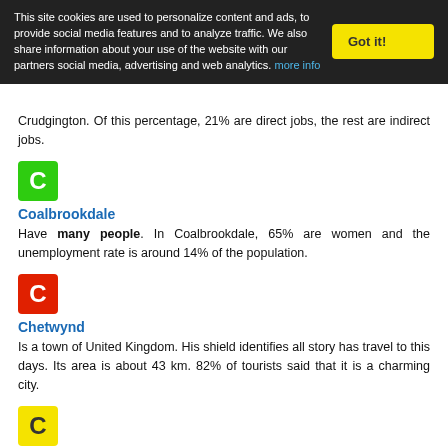This site cookies are used to personalize content and ads, to provide social media features and to analyze traffic. We also share information about your use of the website with our partners social media, advertising and web analytics. more info | Got it!
Crudgington. Of this percentage, 21% are direct jobs, the rest are indirect jobs.
[Figure (other): Green square badge with white letter C]
Coalbrookdale
Have many people. In Coalbrookdale, 65% are women and the unemployment rate is around 14% of the population.
[Figure (other): Red square badge with white letter C]
Chetwynd
Is a town of United Kingdom. His shield identifies all story has travel to this days. Its area is about 43 km. 82% of tourists said that it is a charming city.
[Figure (other): Yellow square badge with dark letter C]
Cherrington